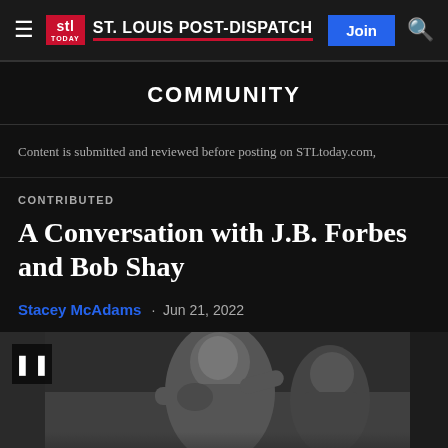ST. LOUIS POST-DISPATCH
COMMUNITY
Content is submitted and reviewed before posting on STLtoday.com,
CONTRIBUTED
A Conversation with J.B. Forbes and Bob Shay
Stacey McAdams · Jun 21, 2022
[Figure (photo): Black and white boxing photograph showing two boxers in action, one landing a punch on the other. Photo appears to be a historic boxing match.]